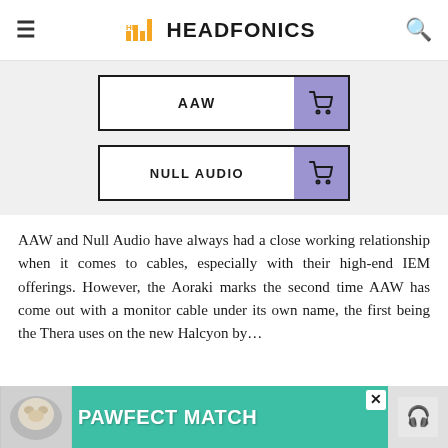HEADFONICS
[Figure (other): AAW shop button with shopping cart icon]
[Figure (other): NULL AUDIO shop button with shopping cart icon]
AAW and Null Audio have always had a close working relationship when it comes to cables, especially with their high-end IEM offerings. However, the Aoraki marks the second time AAW has come out with a monitor cable under its own name, the first being the Thera uses on the new Halcyon by...
[Figure (photo): Advertisement banner: PAWFECT MATCH with dog image]